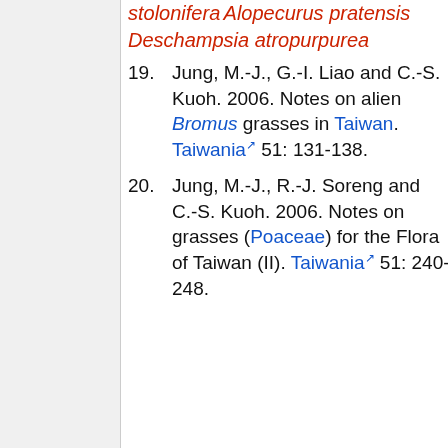stolonifera Alopecurus pratensis Deschampsia atropurpurea
19. Jung, M.-J., G.-I. Liao and C.-S. Kuoh. 2006. Notes on alien Bromus grasses in Taiwan. Taiwania 51: 131-138.
20. Jung, M.-J., R.-J. Soreng and C.-S. Kuoh. 2006. Notes on grasses (Poaceae) for the Flora of Taiwan (II). Taiwania 51: 240-248.